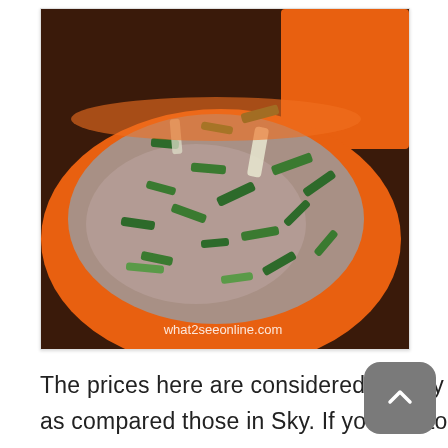[Figure (photo): Close-up photograph of an orange bowl filled with clear broth soup containing chopped green scallions/spring onions. An orange tray is visible in the background on a dark wooden table. Watermark 'what2seeonline.com' appears in the bottom-right of the image.]
The prices here are considered slightly more reasonable with a bigger portion as compared those in Sky. If you like to have it whole, a roast